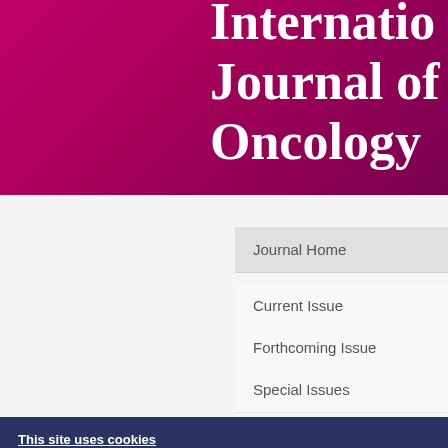International Journal of Oncology
Journal Home
Current Issue
Forthcoming Issue
Special Issues
Soy is... progre... oncog...
This site uses cookies
You can change your cookie settings at any time by following the instructions in our Cookie Policy. To find out more, you may read our Privacy Policy.